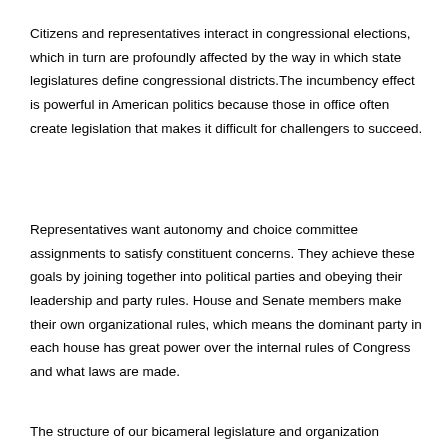Citizens and representatives interact in congressional elections, which in turn are profoundly affected by the way in which state legislatures define congressional districts. The incumbency effect is powerful in American politics because those in office often create legislation that makes it difficult for challengers to succeed.
Representatives want autonomy and choice committee assignments to satisfy constituent concerns. They achieve these goals by joining together into political parties and obeying their leadership and party rules. House and Senate members make their own organizational rules, which means the dominant party in each house has great power over the internal rules of Congress and what laws are made.
The structure of our bicameral legislature and organization